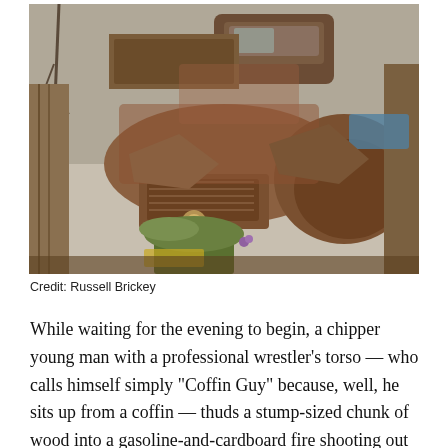[Figure (photo): Stacked and piled rusted, wrecked vintage cars and trucks in a junkyard, partially covered with vegetation and debris.]
Credit: Russell Brickey
While waiting for the evening to begin, a chipper young man with a professional wrestler’s torso — who calls himself simply “Coffin Guy” because, well, he sits up from a coffin — thuds a stump-sized chunk of wood into a gasoline-and-cardboard fire shooting out of a metal barrel in the alleyway beside the Hoochie; he’s a firefighter when not